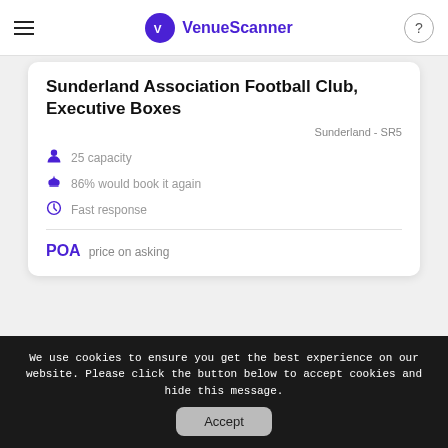VenueScanner
Sunderland Association Football Club, Executive Boxes
Sunderland - SR5
25 capacity
86% would book it again
Fast response
POA  price on asking
We use cookies to ensure you get the best experience on our website. Please click the button below to accept cookies and hide this message.